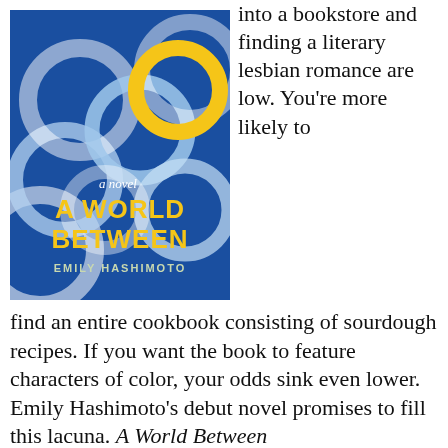[Figure (illustration): Book cover of 'A World Between' by Emily Hashimoto. Blue background with interlocking white and light blue ring shapes and one yellow ring. Text reads 'a novel' in script, 'A WORLD BETWEEN' in large yellow bold letters, and 'EMILY HASHIMOTO' below.]
into a bookstore and finding a literary lesbian romance are low. You're more likely to find an entire cookbook consisting of sourdough recipes. If you want the book to feature characters of color, your odds sink even lower. Emily Hashimoto's debut novel promises to fill this lacuna. A World Between